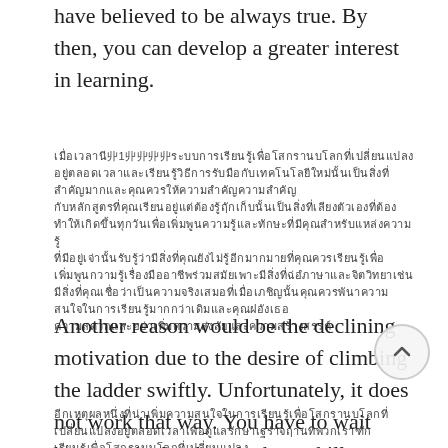have believed to be always true. By then, you can develop a greater interest in learning.
[garbled/non-Latin text block — appears to be Thai or similar script, referencing No.1]
Another reason would be the declining motivation due to the desire of climbing the ladder swiftly. Unfortunately, it does not work that way. You have to wait because the hard truth about skill acquisition is- it requires time.
[garbled/non-Latin text block continues at bottom]